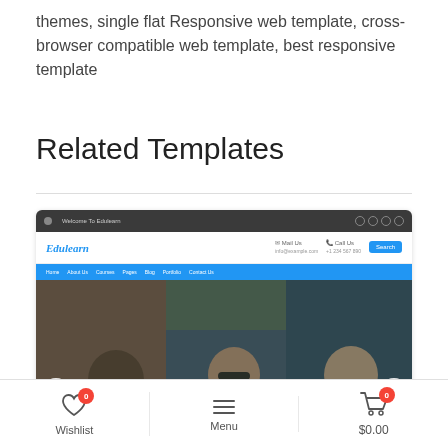themes, single flat Responsive web template, cross-browser compatible web template, best responsive template
Related Templates
[Figure (screenshot): Screenshot of Edulearn website template showing browser chrome, site header with blue logo, navigation bar, and hero image of three students with laptop. Hero text reads 'Your Bright Future Is Our Mission!']
Wishlist 0   Menu   $0.00 0